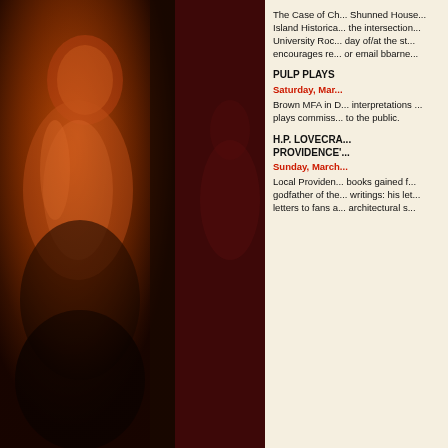[Figure (photo): Vintage noir-style photograph of a woman in dramatic orange/dark tones on left column]
[Figure (illustration): Dark crimson background panel with watermark italic text: Lew, Merrill, and large VIL]
The Case of Ch... Shunned House... Island Historica... the intersection... University Roc... day of/at the st... encourages re... or email bbarne...
PULP PLAYS
Saturday, Mar...
Brown MFA in ... interpretations ... plays commiss... to the public.
H.P. LOVECRA... PROVIDENCE'...
Sunday, Marc...
Local Providen... books gained f... godfather of the... writings: his let... letters to fans a... architectural s...